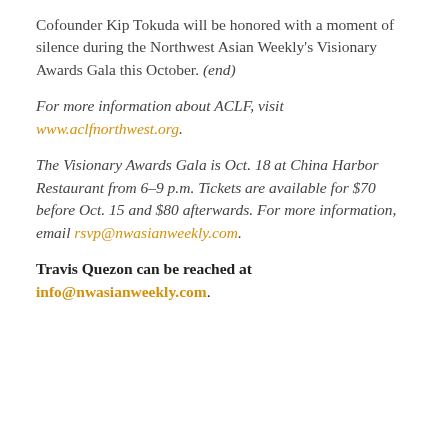Cofounder Kip Tokuda will be honored with a moment of silence during the Northwest Asian Weekly's Visionary Awards Gala this October. (end)
For more information about ACLF, visit www.aclfnorthwest.org.
The Visionary Awards Gala is Oct. 18 at China Harbor Restaurant from 6–9 p.m. Tickets are available for $70 before Oct. 15 and $80 afterwards. For more information, email rsvp@nwasianweekly.com.
Travis Quezon can be reached at info@nwasianweekly.com.